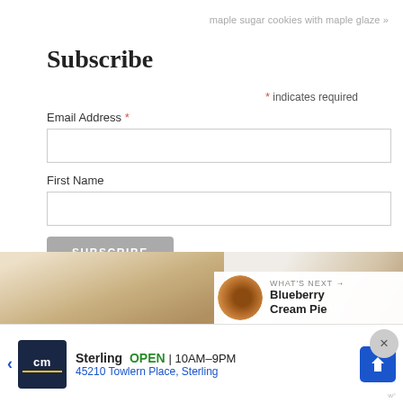maple sugar cookies with maple glaze »
Subscribe
* indicates required
Email Address *
First Name
SUBSCRIBE
POPULAR POSTS
[Figure (photo): Photo of baked food in a pan with parchment paper]
[Figure (photo): Photo of a white cup and a baked item]
[Figure (photo): Thumbnail of a blueberry cream pie]
WHAT'S NEXT → Blueberry Cream Pie
Sterling  OPEN | 10AM–9PM
45210 Towlern Place, Sterling